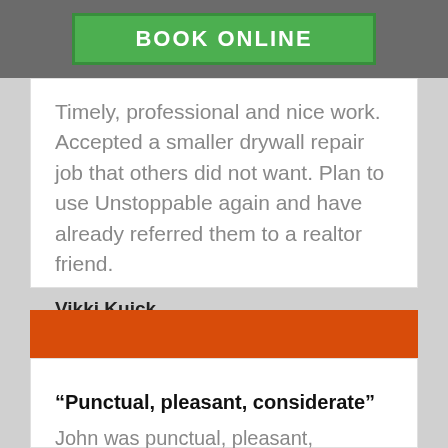BOOK ONLINE
Timely, professional and nice work. Accepted a smaller drywall repair job that others did not want. Plan to use Unstoppable again and have already referred them to a realtor friend.
Vikki Kuick
San Diego, CA
“Punctual, pleasant, considerate”
John was punctual, pleasant, considerate,